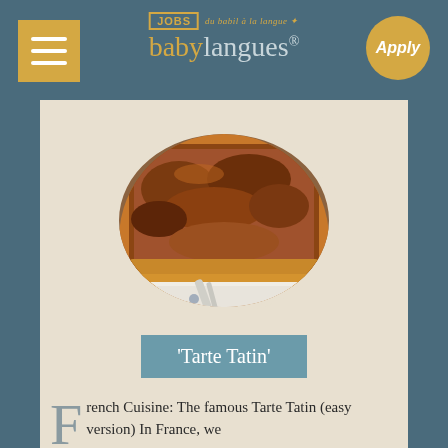[Figure (logo): Babylangues Jobs logo with golden 'JOBS' box, tagline arc 'du babil à la langue', and golden/light blue babylangues wordmark with registered trademark]
[Figure (photo): Circular cropped photo of a Tarte Tatin (French caramelized upside-down apple tart) with a slice being served on a blue and white patterned plate]
'Tarte Tatin'
French Cuisine: The famous Tarte Tatin (easy version) In France, we